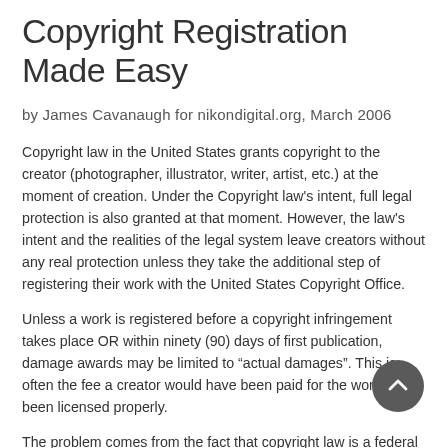Copyright Registration Made Easy
by James Cavanaugh for nikondigital.org, March 2006
Copyright law in the United States grants copyright to the creator (photographer, illustrator, writer, artist, etc.) at the moment of creation. Under the Copyright law's intent, full legal protection is also granted at that moment. However, the law's intent and the realities of the legal system leave creators without any real protection unless they take the additional step of registering their work with the United States Copyright Office.
Unless a work is registered before a copyright infringement takes place OR within ninety (90) days of first publication, damage awards may be limited to “actual damages”. This is often the fee a creator would have been paid for the work had it been licensed properly.
The problem comes from the fact that copyright law is a federal law and copyright claims must be prosecuted in Federal court. This can be very expensive. Just filing the claim and initial briefs can cost in excess of $10,000.00In fact, a protracted copyright case can cost